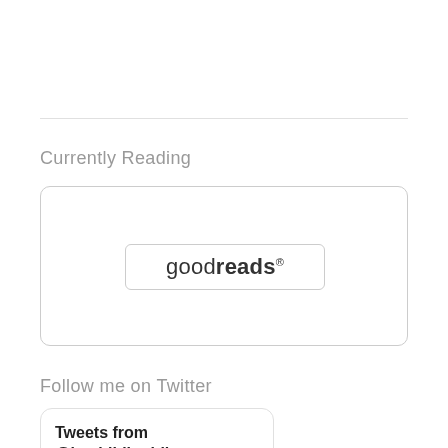Currently Reading
[Figure (logo): Goodreads widget placeholder with goodreads logo inside a rounded rectangle border]
Follow me on Twitter
[Figure (screenshot): Twitter widget showing 'Tweets from @bexbibliophile' header with a tweet row showing an avatar, star emoji, truncated name 'Rebe...' and Twitter bird icon]